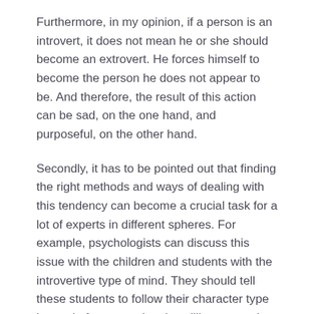Furthermore, in my opinion, if a person is an introvert, it does not mean he or she should become an extrovert. He forces himself to become the person he does not appear to be. And therefore, the result of this action can be sad, on the one hand, and purposeful, on the other hand.
Secondly, it has to be pointed out that finding the right methods and ways of dealing with this tendency can become a crucial task for a lot of experts in different spheres. For example, psychologists can discuss this issue with the children and students with the introvertive type of mind. They should tell these students to follow their character type instead of encouraging the willingness to be the same as their colleagues. These children and students should listen to their heart to define what is right and what is wrong. Moreover, the author of the article claims that "Probably the best way of teaching, in general, is one on one, but that's not